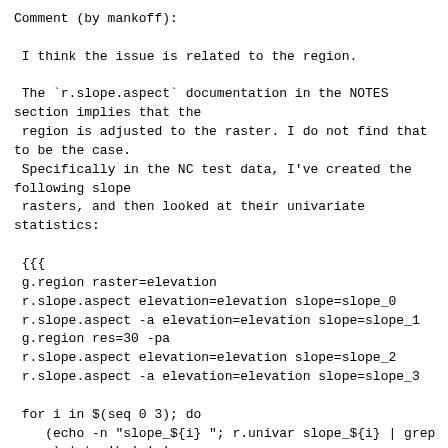Comment (by mankoff):
I think the issue is related to the region.
The `r.slope.aspect` documentation in the NOTES section implies that the
 region is adjusted to the raster. I do not find that to be the case.
 Specifically in the NC test data, I've created the following slope
 rasters, and then looked at their univariate statistics:
{{{
g.region raster=elevation
r.slope.aspect elevation=elevation slope=slope_0
r.slope.aspect -a elevation=elevation slope=slope_1
g.region res=30 -pa
r.slope.aspect elevation=elevation slope=slope_2
r.slope.aspect -a elevation=elevation slope=slope_3

for i in $(seq 0 3); do
   (echo -n "slope_${i} "; r.univar slope_${i} | grep range) | tr '\n' ' '
 done
}}}

Results are: